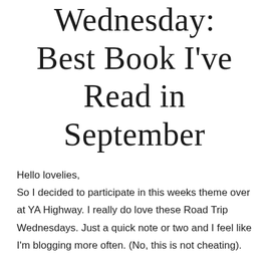Wednesday: Best Book I've Read in September
Hello lovelies,
So I decided to participate in this weeks theme over at YA Highway. I really do love these Road Trip Wednesdays. Just a quick note or two and I feel like I'm blogging more often. (No, this is not cheating).